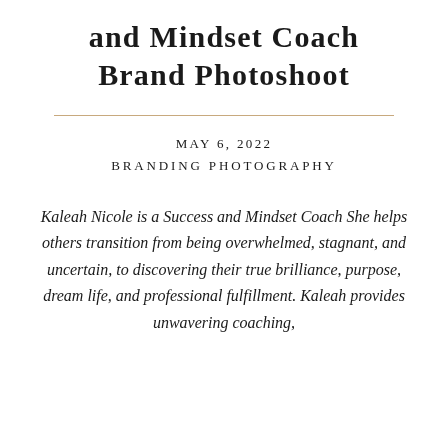and Mindset Coach Brand Photoshoot
MAY 6, 2022
BRANDING PHOTOGRAPHY
Kaleah Nicole is a Success and Mindset Coach She helps others transition from being overwhelmed, stagnant, and uncertain, to discovering their true brilliance, purpose, dream life, and professional fulfillment. Kaleah provides unwavering coaching,